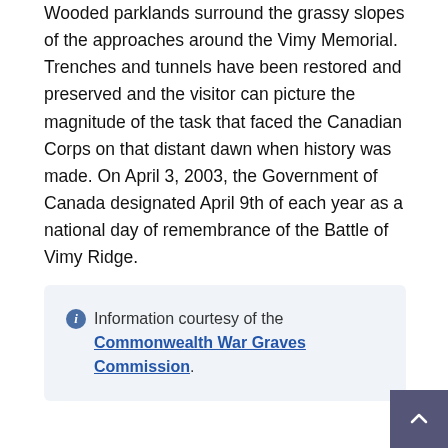Wooded parklands surround the grassy slopes of the approaches around the Vimy Memorial. Trenches and tunnels have been restored and preserved and the visitor can picture the magnitude of the task that faced the Canadian Corps on that distant dawn when history was made. On April 3, 2003, the Government of Canada designated April 9th of each year as a national day of remembrance of the Battle of Vimy Ridge.
Information courtesy of the Commonwealth War Graves Commission.